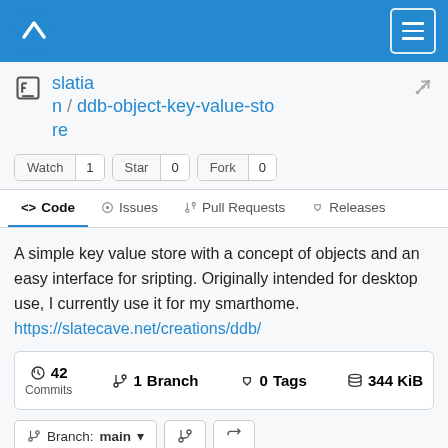[Figure (screenshot): Codeberg repository page header with logo and hamburger menu]
slatian / ddb-object-key-value-store
Watch 1  Star 0  Fork 0
<> Code  Issues  Pull Requests  Releases
A simple key value store with a concept of objects and an easy interface for sripting. Originally intended for desktop use, I currently use it for my smarthome. https://slatecave.net/creations/ddb/
42 Commits  1 Branch  0 Tags  344 KiB
Branch: main
HTTPS  https://codeberg.org/slatian/c